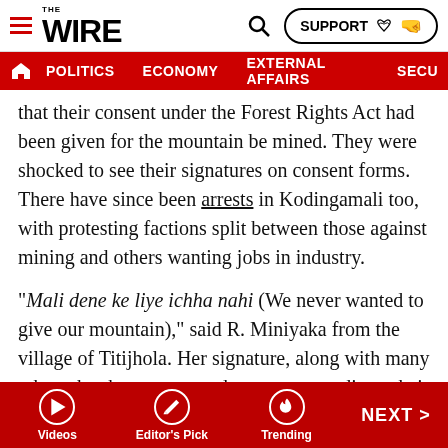THE WIRE — navigation bar with POLITICS, ECONOMY, EXTERNAL AFFAIRS, SECU...
that their consent under the Forest Rights Act had been given for the mountain be mined. They were shocked to see their signatures on consent forms. There have since been arrests in Kodingamali too, with protesting factions split between those against mining and others wanting jobs in industry.
“Mali dene ke liye ichha nahi (We never wanted to give our mountain),” said R. Miniyaka from the village of Titijhola. Her signature, along with many others, has been presented as consent to divert their forests for bauxite mining, the ore eventually ending up in Lanjigarh’s ash ponds.
Meanwhile, a bauxite corridor continues to be built between
Videos | Editor's Pick | Trending | NEXT >